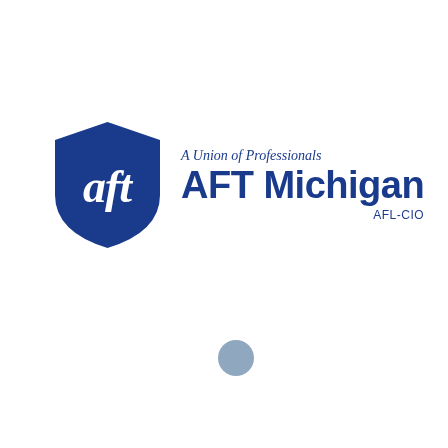[Figure (logo): AFT Michigan AFL-CIO logo consisting of a blue shield with stylized 'aft' text in white, alongside the text 'A Union of Professionals' in italic and 'AFT Michigan' in bold blue, with 'AFL-CIO' below]